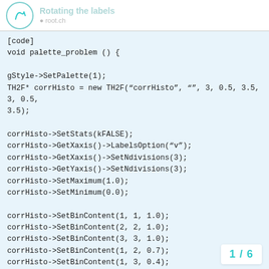Rotating the labels
[code]
void palette_problem () {

gStyle->SetPalette(1);
TH2F* corrHisto = new TH2F(“corrHisto”, “”, 3, 0.5, 3.5, 3, 0.5, 3.5);

corrHisto->SetStats(kFALSE);
corrHisto->GetXaxis()->LabelsOption(“v”);
corrHisto->GetXaxis()->SetNdivisions(3);
corrHisto->GetYaxis()->SetNdivisions(3);
corrHisto->SetMaximum(1.0);
corrHisto->SetMinimum(0.0);

corrHisto->SetBinContent(1, 1, 1.0);
corrHisto->SetBinContent(2, 2, 1.0);
corrHisto->SetBinContent(3, 3, 1.0);
corrHisto->SetBinContent(1, 2, 0.7);
corrHisto->SetBinContent(1, 3, 0.4);
corrHisto->SetBinContent(2, 3, 0.0);
1 / 6